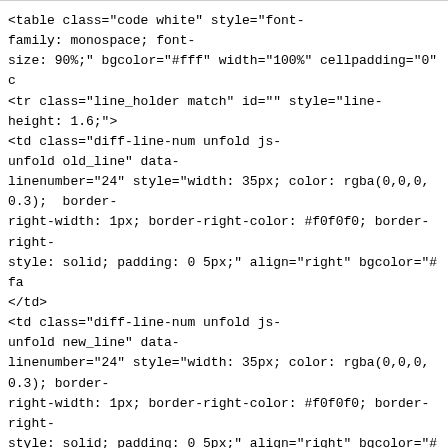<hr>
<table class="code white" style="font-family: monospace; font-size: 90%;" bgcolor="#fff" width="100%" cellpadding="0" c
<tr class="line_holder match" id="" style="line-height: 1.6;">
<td class="diff-line-num unfold js-unfold old_line" data-linenumber="24" style="width: 35px; color: rgba(0,0,0,0.3); border-right-width: 1px; border-right-color: #f0f0f0; border-right-style: solid; padding: 0 5px;" align="right" bgcolor="#fa
</td>
<td class="diff-line-num unfold js-unfold new_line" data-linenumber="24" style="width: 35px; color: rgba(0,0,0,0.3); border-right-width: 1px; border-right-color: #f0f0f0; border-right-style: solid; padding: 0 5px;" align="right" bgcolor="#fa
</td>
<td class="line_content match " style="padding-left: 0.5em; padding-right: 0.5em; color: rgba(0,0,0,0.3);" bgcolor="#fafafa">
</td>
</tr>
<tr class="line_holder" id="" style="line-height: 1.6;">
<td class="diff-line-num old_line" data-linenumber="24" style="width: 35px; color: rgba(0,0,0,0.3); border-right-width: 1px; border-right-color: #f0f0f0; border-